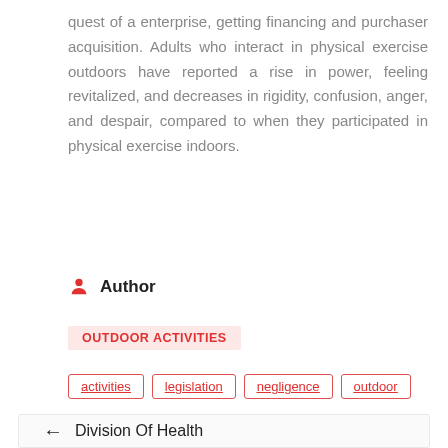quest of a enterprise, getting financing and purchaser acquisition. Adults who interact in physical exercise outdoors have reported a rise in power, feeling revitalized, and decreases in rigidity, confusion, anger, and despair, compared to when they participated in physical exercise indoors.
Author
OUTDOOR ACTIVITIES
activities
legislation
negligence
outdoor
← Division Of Health